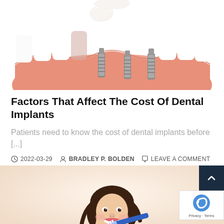[Figure (illustration): 3D medical illustration of dental implants being placed into a lower jaw model, showing titanium implant screws inserted into pink gum tissue surrounded by white teeth. A white dental crown is shown floating above.]
Factors That Affect The Cost Of Dental Implants
Patients need to know the cost of dental implants before [...]
2022-03-29  BRADLEY P. BOLDEN  LEAVE A COMMENT
[Figure (photo): Photo of a young girl with braided pigtails smiling and holding a blue toothbrush, brushing her teeth.]